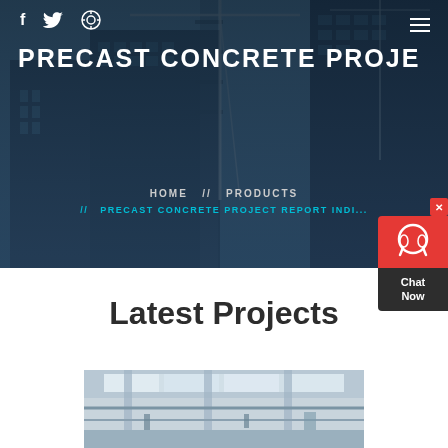[Figure (photo): Hero banner with construction site background showing buildings under construction with cranes, overlaid with dark blue tint]
PRECAST CONCRETE PROJECT R
HOME // PRODUCTS // PRECAST CONCRETE PROJECT REPORT INDI...
[Figure (screenshot): Chat Now widget on right side with red background, headset icon, and dark label area]
Latest Projects
[Figure (photo): Interior construction photo showing precast concrete beams and panels in a large industrial building with scaffolding]